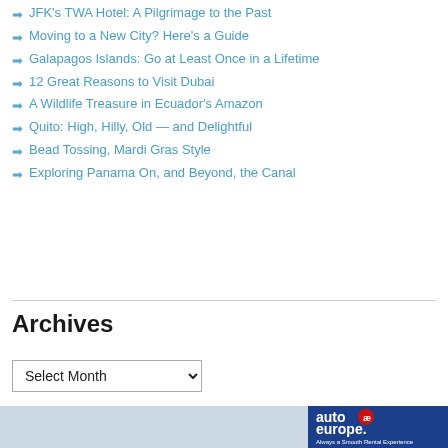JFK's TWA Hotel: A Pilgrimage to the Past
Moving to a New City? Here's a Guide
Galapagos Islands: Go at Least Once in a Lifetime
12 Great Reasons to Visit Dubai
A Wildlife Treasure in Ecuador's Amazon
Quito: High, Hilly, Old — and Delightful
Bead Tossing, Mardi Gras Style
Exploring Panama On, and Beyond, the Canal
Archives
Select Month
[Figure (logo): Auto Europe advertisement banner — blue background with 'auto ae europe.' logo and text 'Always a Smooth Rental Experience' and 'Worldwide']